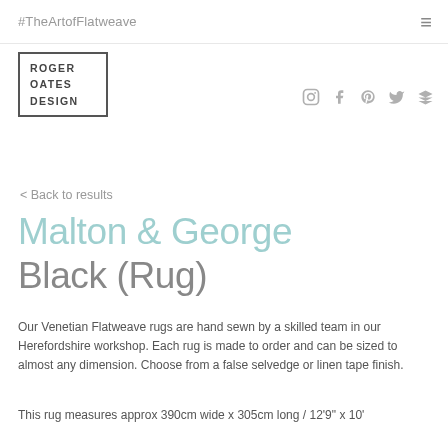#TheArtofFlatweave
[Figure (logo): Roger Oates Design logo — text in bordered box reading ROGER OATES DESIGN]
[Figure (other): Social media icons: Instagram, Facebook, Pinterest, Twitter, Houzz]
< Back to results
Malton & George Black (Rug)
Our Venetian Flatweave rugs are hand sewn by a skilled team in our Herefordshire workshop. Each rug is made to order and can be sized to almost any dimension. Choose from a false selvedge or linen tape finish.
This rug measures approx 390cm wide x 305cm long / 12'9" x 10'